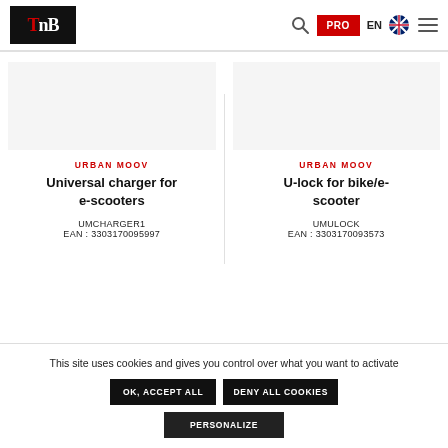TnB — Urban Moov product listing header with logo, search, PRO button, EN language, flag, and hamburger menu
[Figure (screenshot): Product image area for Universal charger for e-scooters (blank/placeholder)]
URBAN MOOV
Universal charger for e-scooters
UMCHARGER1
EAN : 3303170095997
[Figure (screenshot): Product image area for U-lock for bike/e-scooter (blank/placeholder)]
URBAN MOOV
U-lock for bike/e-scooter
UMULOCK
EAN : 3303170093573
This site uses cookies and gives you control over what you want to activate
OK, ACCEPT ALL
DENY ALL COOKIES
PERSONALIZE